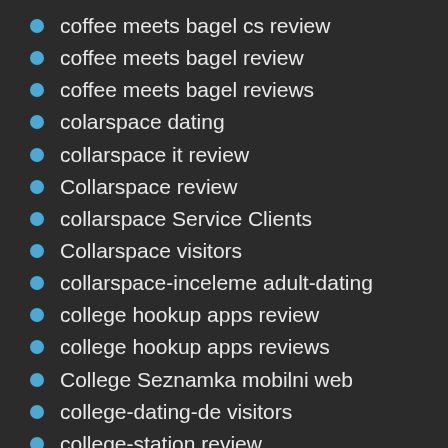coffee meets bagel cs review
coffee meets bagel review
coffee meets bagel reviews
colarspace dating
collarspace it review
Collarspace review
collarspace Service Clients
Collarspace visitors
collarspace-inceleme adult-dating
college hookup apps review
college hookup apps reviews
College Seznamka mobilni web
college-dating-de visitors
college-station review
ColombianCupid dating site